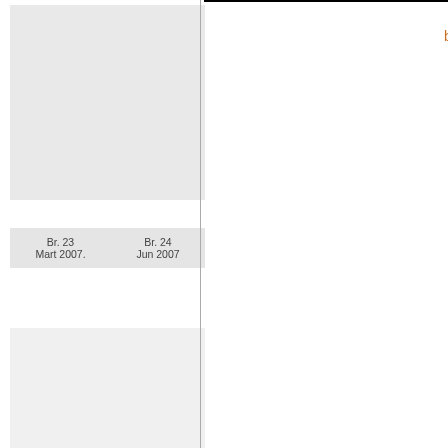[Figure (other): Thumbnail image block for Br. 23 and Br. 24]
Br. 23 Mart 2007.    Br. 24 Jun 2007
[Figure (other): Thumbnail image block for Br. 21 and Br. 22]
Br. 21 Nov. 2006.    Br. 22 Januar 2007.
[Figure (other): Thumbnail image block for Br. 19 and Br. 20]
Br. 19 Jul 2006.    Br. 20 Sept. 2006.
[Figure (other): Partial thumbnail block at bottom left]
back